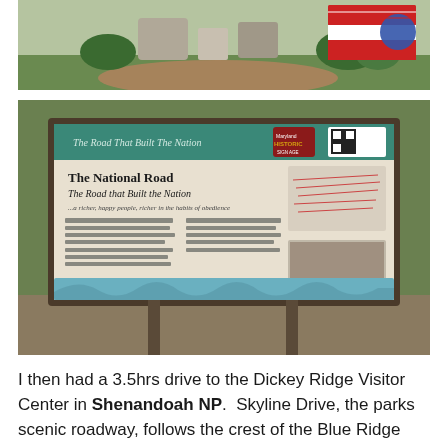[Figure (photo): Outdoor memorial or monument with brick pathway, green hedges, and an American flag sign visible in the background]
[Figure (photo): Roadside interpretive sign for 'The National Road - The Road that Built the Nation' with text panels, a small map, and historic photograph, set in a grassy area]
I then had a 3.5hrs drive to the Dickey Ridge Visitor Center in Shenandoah NP.  Skyline Drive, the parks scenic roadway, follows the crest of the Blue Ridge